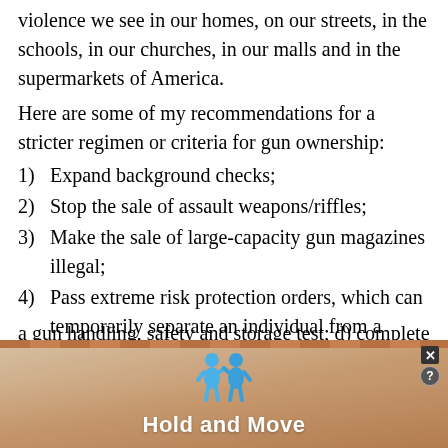violence we see in our homes, on our streets, in the schools, in our churches, in our malls and in the supermarkets of America.
Here are some of my recommendations for a stricter regimen or criteria for gun ownership:
1)  Expand background checks;
2)  Stop the sale of assault weapons/riffles;
3)  Make the sale of large-capacity gun magazines illegal;
4)  Pass extreme risk protection orders, which can temporarily separate an individual from a firearm if they are at risk of harming themselves or others;
5)  To own a gun, an individual must: a) first be 21 or older; b) pass a mental health examination; c) prepare for and pass a gun handling, safety and storage test; d) complete a conflict...
[Figure (other): Advertisement banner at bottom of page showing 'Hold and Move' app/game with blue figure icons, close and help buttons in top right corner.]